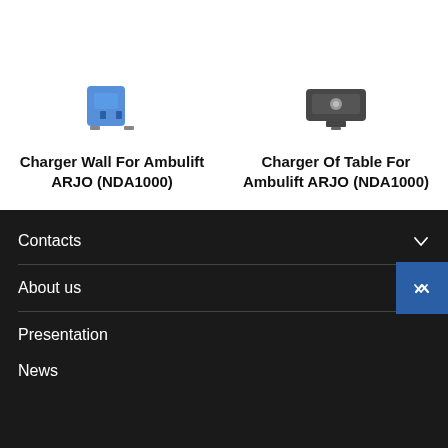Charger Wall For Ambulift ARJO (NDA1000)
Charger Of Table For Ambulift ARJO (NDA1000)
Contacts
About us
Presentation
News